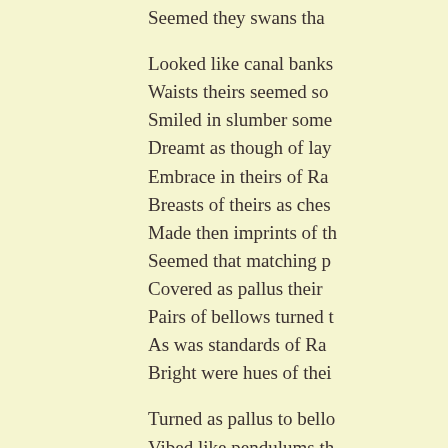Seemed they swans tha

Looked like canal banks
Waists theirs seemed so
Smiled in slumber some
Dreamt as though of lay
Embrace in theirs of Ra
Breasts of theirs as ches
Made then imprints of th
Seemed that matching p
Covered as pallus their
Pairs of bellows turned t
As was standards of Ra
Bright were hues of thei

Turned as pallus to bello
Vibed like pendulums th
Smelled well as the brea
Got that better with wine
Sexy co-wives of Ravan
Kiss hi...